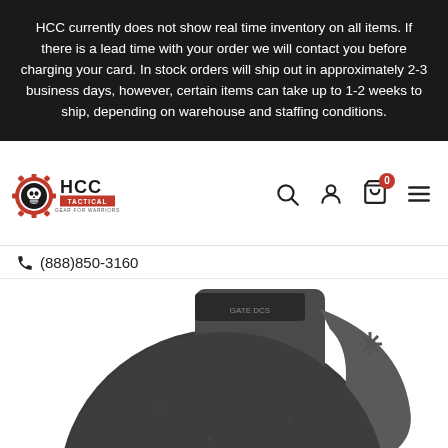HCC currently does not show real time inventory on all items. If there is a lead time with your order we will contact you before charging your card. In stock orders will ship out in approximately 2-3 business days, however, certain items can take up to 1-2 weeks to ship, depending on warehouse and staffing conditions.
[Figure (logo): HCC Tactical - Gear for Warriors logo with skull and gear imagery]
(888)850-3160
[Figure (photo): Close-up product photo of a black tactical firearm component/magazine base plate with textured surface and oval hole]